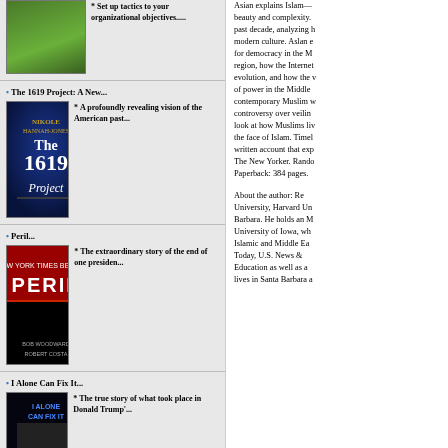* Set up tactics to your organizational objectives.....
The 1619 Project: A New...
* A profoundly revealing vision of the American past...
Peril...
* The extraordinary story of the end of one presiden...
I Alone Can Fix It...
* The true story of what took place in Donald Trump'...
Asian explains Islam—beauty and complexity. past decade, analyzing h modern culture. Aslan e for democracy in the M region, how the Internet evolution, and how the of power in the Middle contemporary Muslim w controversy over veilin look at how Muslims li the face of Islam. Time written account that ex The New Yorker. Rand Paperback: 384 pages.
About the author: Re University, Harvard U Barbara. He holds an M University of Iowa, w Islamic and Middle Ea Today, U.S. News & Education as well as a lives in Santa Barbara a